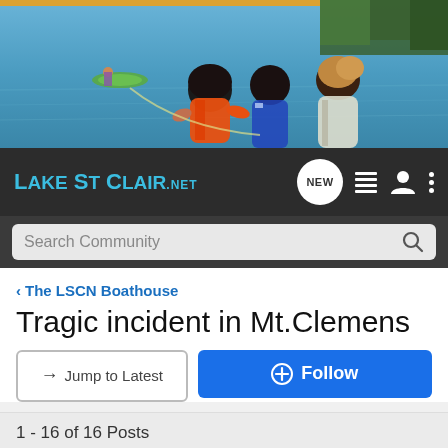[Figure (photo): Hero image showing children in life vests on a lake with someone paddleboarding in the background]
LAKE ST CLAIR.NET — navigation bar with NEW, list, user, and menu icons, plus Search Community search bar
< The LSCN Boathouse
Tragic incident in Mt.Clemens
→ Jump to Latest   ⊕ Follow
1 - 16 of 16 Posts
Girlie · Registered
Joined Jan 12, 2003 · 1,674 Posts